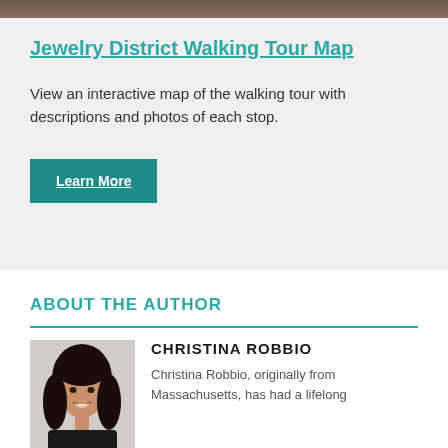[Figure (photo): Partial photo strip at the top of the page showing a dark/wood background]
Jewelry District Walking Tour Map
View an interactive map of the walking tour with descriptions and photos of each stop.
Learn More
ABOUT THE AUTHOR
[Figure (photo): Headshot of Christina Robbio, a woman with long dark hair, smiling, wearing a dark jacket, against a light background]
CHRISTINA ROBBIO
Christina Robbio, originally from Massachusetts, has had a lifelong